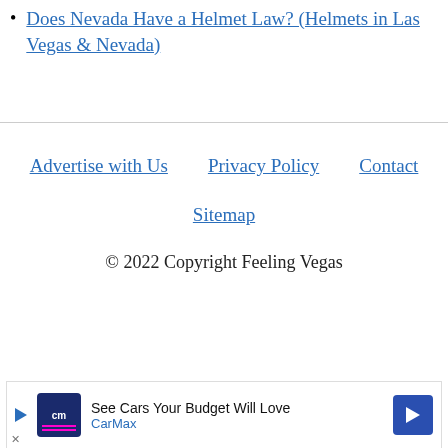Does Nevada Have a Helmet Law? (Helmets in Las Vegas & Nevada)
Advertise with Us   Privacy Policy   Contact   Sitemap
© 2022 Copyright Feeling Vegas
[Figure (screenshot): Video player placeholder showing 'No compatible source was found for this media.' with an ad banner below for CarMax: 'See Cars Your Budget Will Love']